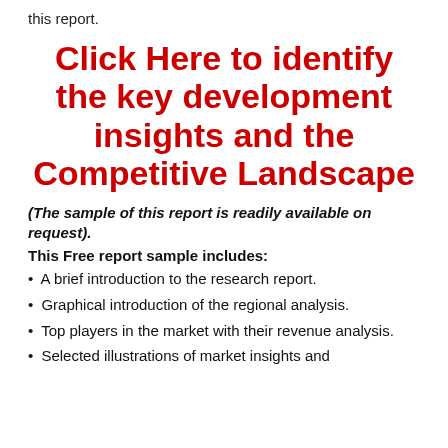this report.
Click Here to identify the key development insights and the Competitive Landscape
(The sample of this report is readily available on request).
This Free report sample includes:
A brief introduction to the research report.
Graphical introduction of the regional analysis.
Top players in the market with their revenue analysis.
Selected illustrations of market insights and